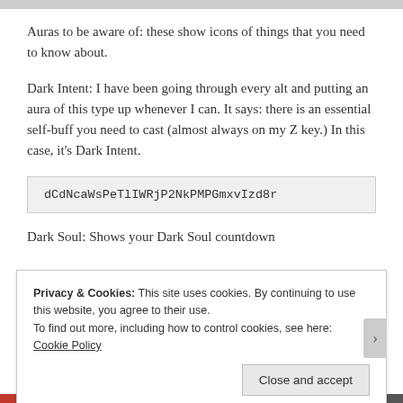Auras to be aware of: these show icons of things that you need to know about.
Dark Intent: I have been going through every alt and putting an aura of this type up whenever I can. It says: there is an essential self-buff you need to cast (almost always on my Z key.) In this case, it’s Dark Intent.
dCdNcaWsPeTlIWRjP2NkPMPGmxvIzd8r
Dark Soul: Shows your Dark Soul countdown
Privacy & Cookies: This site uses cookies. By continuing to use this website, you agree to their use.
To find out more, including how to control cookies, see here: Cookie Policy